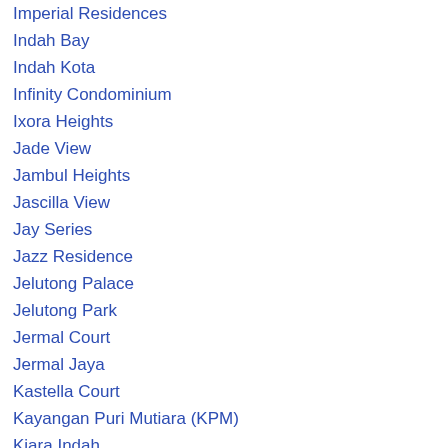Imperial Residences
Indah Bay
Indah Kota
Infinity Condominium
Ixora Heights
Jade View
Jambul Heights
Jascilla View
Jay Series
Jazz Residence
Jelutong Palace
Jelutong Park
Jermal Court
Jermal Jaya
Kastella Court
Kayangan Puri Mutiara (KPM)
Kiara Indah
Kingfisher Series
Kondo Berjaya